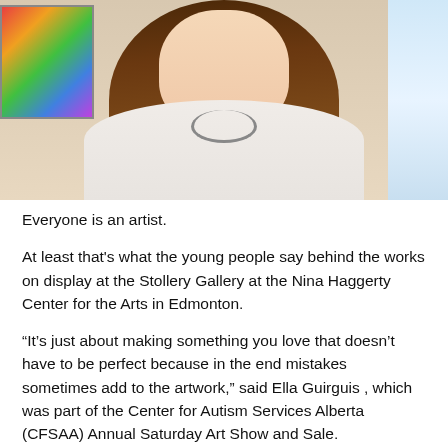[Figure (photo): A young woman with long dark hair wearing a white sleeveless top and a chain necklace, seated in what appears to an art gallery. Colorful artwork is visible on the wall to the left, and a window is visible to the right.]
Everyone is an artist.
At least that's what the young people say behind the works on display at the Stollery Gallery at the Nina Haggerty Center for the Arts in Edmonton.
“It’s just about making something you love that doesn’t have to be perfect because in the end mistakes sometimes add to the artwork,” said Ella Guirguis , which was part of the Center for Autism Services Alberta (CFSAA) Annual Saturday Art Show and Sale.
The exhibit featured the work of children, teens and young adults who are part of CFASA’s art programs, which run from September to